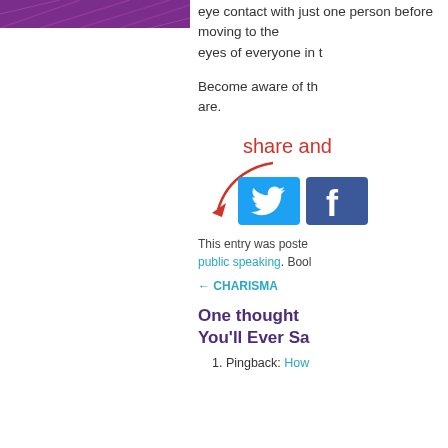[Figure (illustration): Purple banner with geometric line pattern on the left column top]
eye contact with just one person before moving to the eyes of everyone in t...
Become aware of th... are.
[Figure (infographic): Share and Enjoy callout with red handwritten text, curved arrow, Twitter and Facebook social share buttons]
This entry was poste... public speaking. Bool...
← CHARISMA
One thought on "... You'll Ever Sa..."
1. Pingback: How...